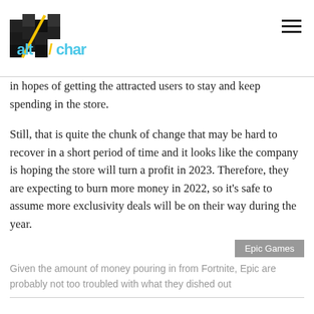AltChar
in hopes of getting the attracted users to stay and keep spending in the store.
Still, that is quite the chunk of change that may be hard to recover in a short period of time and it looks like the company is hoping the store will turn a profit in 2023. Therefore, they are expecting to burn more money in 2022, so it's safe to assume more exclusivity deals will be on their way during the year.
Given the amount of money pouring in from Fortnite, Epic are probably not too troubled with what they dished out